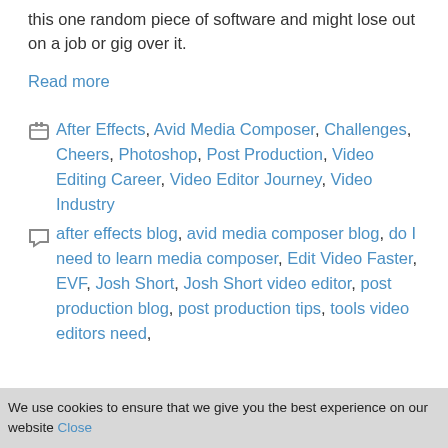this one random piece of software and might lose out on a job or gig over it.
Read more
After Effects, Avid Media Composer, Challenges, Cheers, Photoshop, Post Production, Video Editing Career, Video Editor Journey, Video Industry
after effects blog, avid media composer blog, do I need to learn media composer, Edit Video Faster, EVF, Josh Short, Josh Short video editor, post production blog, post production tips, tools video editors need,
We use cookies to ensure that we give you the best experience on our website Close